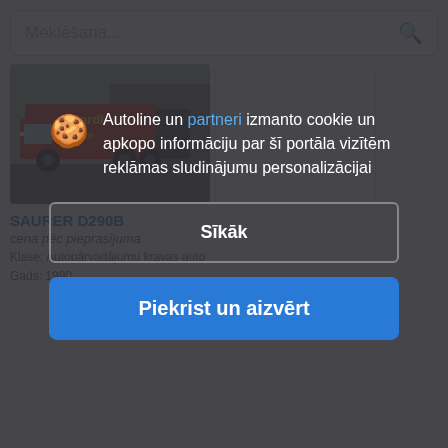Meklēšana...
[Figure (photo): Red delivery truck (SAURER D290B) parked in front of a building with a garage door. The truck has yellow text on the side reading 'Gardi' and something else.]
SAURER D290B
cena pēc pieprasījuma
Klase: Autopārvadājumu kravas auto
Gads: 1990
Autoline un partneri izmanto cookie un apkopo informāciju par šī portāla vizītēm reklāmas sludinājumu personalizācijai
Sīkāk
Piekrist un aizvērt